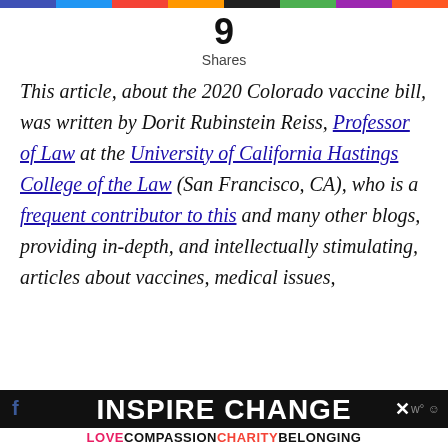9 Shares
This article, about the 2020 Colorado vaccine bill, was written by Dorit Rubinstein Reiss, Professor of Law at the University of California Hastings College of the Law (San Francisco, CA), who is a frequent contributor to this and many other blogs, providing in-depth, and intellectually stimulating, articles about vaccines, medical issues,
INSPIRE CHANGE | LOVE COMPASSION CHARITY BELONGING